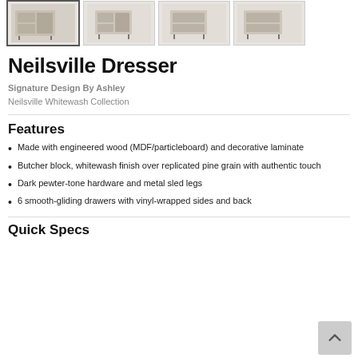[Figure (photo): Four thumbnail images of the Neilsville Dresser showing different angles; the first thumbnail has an active/selected border.]
Neilsville Dresser
Signature Design By Ashley
Neilsville Whitewash Collection
Features
Made with engineered wood (MDF/particleboard) and decorative laminate
Butcher block, whitewash finish over replicated pine grain with authentic touch
Dark pewter-tone hardware and metal sled legs
6 smooth-gliding drawers with vinyl-wrapped sides and back
Quick Specs